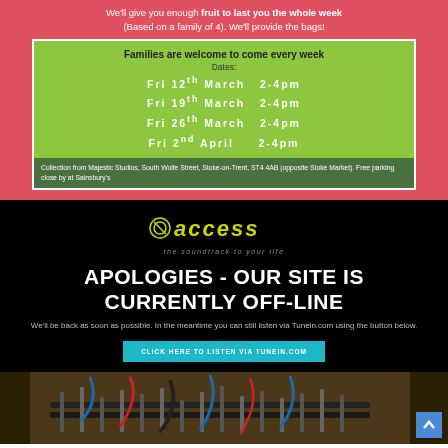We'll give you enough fruit to last you the whole week (Based on a family of 4). We'll provide the bags!
Families are welcome to come every week
Dates: Fri 12th March 2-4pm, Fri 19th March 2-4pm, Fri 26th March 2-4pm, Fri 2nd April 2-4pm
Collection from Majestic Studios, South Wolfe Street, Stoke-on-Trent, ST4 4AB (opposite Stoke Market). Free parking close by at Sainsbury's
[Figure (logo): Access Radio logo - yellow italic 'access' text with tagline 'the soundtrack to your life']
APOLOGIES - OUR SITE IS CURRENTLY OFF-LINE
We'll be back as soon as possible. In the meantime you can still listen via Tunein.com using the button below.
CLICK HERE TO LISTEN VIA TUNEIN.COM
[Figure (photo): Close-up photo of audio mixing desk/equipment with cables]